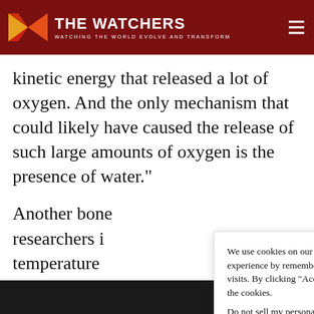THE WATCHERS — WATCHING THE WORLD EVOLVE AND TRANSFORM
kinetic energy that released a lot of oxygen. And the only mechanism that could likely have caused the release of such large amounts of oxygen is the presence of water."
Another bone... researchers i... temperature... causing the d... visible on the... precondition... molecules, w... billion years...
We use cookies on our website to give you the most relevant experience by remembering your preferences and repeat visits. By clicking “Accept”, you consent to the use of ALL the cookies.
Do not sell my personal information.